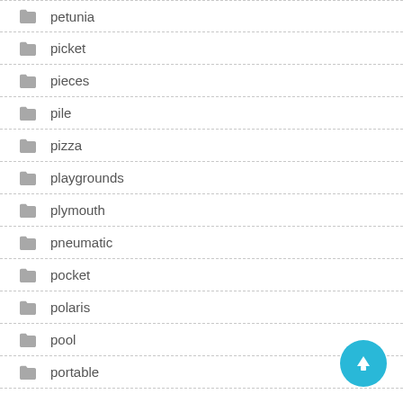petunia
picket
pieces
pile
pizza
playgrounds
plymouth
pneumatic
pocket
polaris
pool
portable
[Figure (other): Circular teal upload/up-arrow floating action button in bottom-right corner]